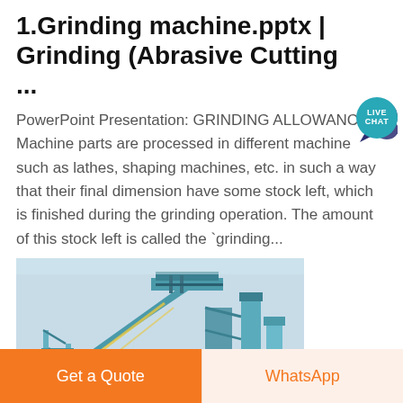1.Grinding machine.pptx | Grinding (Abrasive Cutting ...
PowerPoint Presentation: GRINDING ALLOWANCE Machine parts are processed in different machine such as lathes, shaping machines, etc. in such a way that their final dimension have some stock left, which is finished during the grinding operation. The amount of this stock left is called the `grinding...
[Figure (photo): Industrial grinding/conveyor machine structure with blue steel framework, conveyor belts, and industrial equipment components]
Get a Quote
WhatsApp